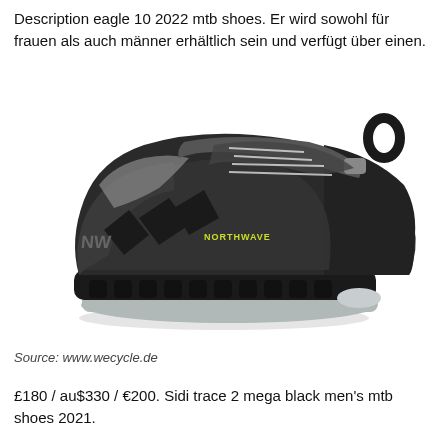Description eagle 10 2022 mtb shoes. Er wird sowohl für frauen als auch männer erhältlich sein und verfügt über einen.
[Figure (photo): Black Northwave Eagle 10 2022 MTB cycling shoe with Velcro strap, laces, gray sole, and yellow Northwave logo branding on the side, photographed on white background.]
Source: www.wecycle.de
£180 / au$330 / €200. Sidi trace 2 mega black men's mtb shoes 2021.